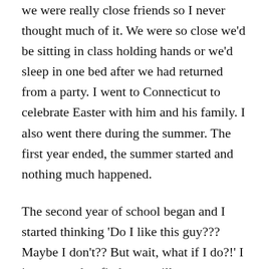we were really close friends so I never thought much of it. We were so close we'd be sitting in class holding hands or we'd sleep in one bed after we had returned from a party. I went to Connecticut to celebrate Easter with him and his family. I also went there during the summer. The first year ended, the summer started and nothing much happened.
The second year of school began and I started thinking 'Do I like this guy??? Maybe I don't?? But wait, what if I do?!' I just seemed to find some silly excuses to make myself think I did not like him, when in reality, I knew that I did. During the second year of school I went on a couple of more dates, met some guys through dating apps or through someone who was a friend of a friend. I never seemed to hit it off with anyone. Moreover, in my subconscious mind I was comparing them to. Ryan!!!???